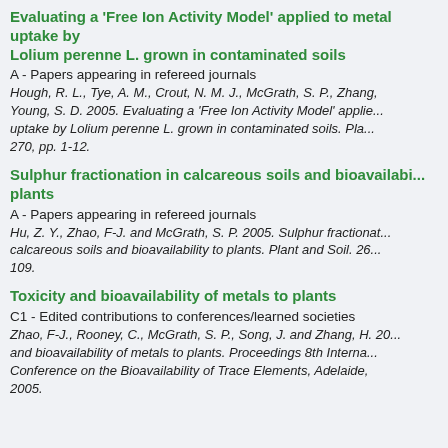Evaluating a 'Free Ion Activity Model' applied to metal uptake by Lolium perenne L. grown in contaminated soils
A - Papers appearing in refereed journals
Hough, R. L., Tye, A. M., Crout, N. M. J., McGrath, S. P., Zhang, H., Young, S. D. 2005. Evaluating a 'Free Ion Activity Model' applied to metal uptake by Lolium perenne L. grown in contaminated soils. Plant and Soil. 270, pp. 1-12.
Sulphur fractionation in calcareous soils and bioavailability to plants
A - Papers appearing in refereed journals
Hu, Z. Y., Zhao, F-J. and McGrath, S. P. 2005. Sulphur fractionation in calcareous soils and bioavailability to plants. Plant and Soil. 26..., pp. ...-109.
Toxicity and bioavailability of metals to plants
C1 - Edited contributions to conferences/learned societies
Zhao, F-J., Rooney, C., McGrath, S. P., Song, J. and Zhang, H. 20... Toxicity and bioavailability of metals to plants. Proceedings 8th International Conference on the Bioavailability of Trace Elements, Adelaide, 2005.